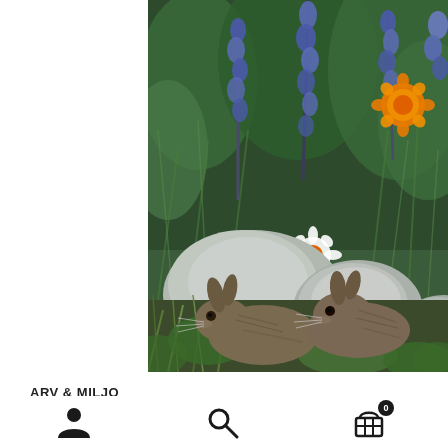[Figure (photo): Two young rabbits or hares nestled among rocks, green plants, blue delphinium flowers, orange marigold flowers, and a white daisy in a naturalistic garden/outdoor setting]
ARV & MILJO
Himmelsvind